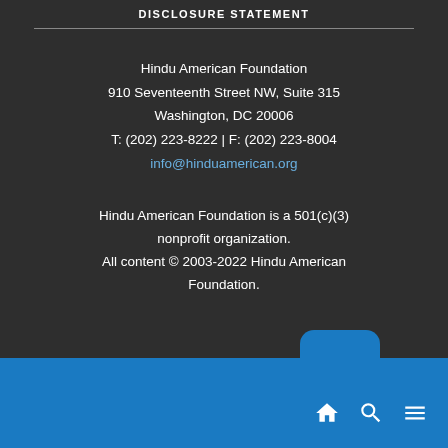DISCLOSURE STATEMENT
Hindu American Foundation
910 Seventeenth Street NW, Suite 315
Washington, DC 20006
T: (202) 223-8222 | F: (202) 223-8004
info@hinduamerican.org
Hindu American Foundation is a 501(c)(3) nonprofit organization.
All content © 2003-2022 Hindu American Foundation.
Navigation bar with home, search, and menu icons